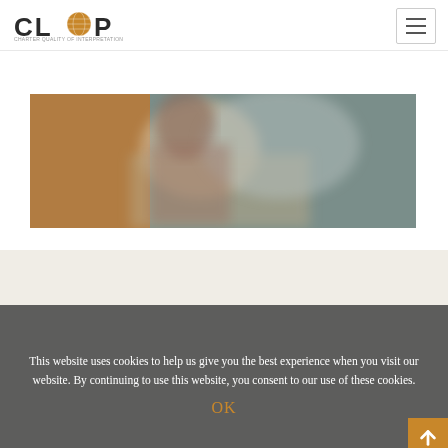[Figure (logo): CLOP logo with orange circle between 'CL' and 'P' letters, with small subtitle text beneath]
[Figure (other): Hamburger menu button (three horizontal lines) in top right corner]
[Figure (photo): Blurred photo showing a person, with orange and teal/gray tones]
[Figure (screenshot): Partial orange text beginning with 'Ti' on beige background, partially obscured by cookie banner]
This website uses cookies to help us give you the best experience when you visit our website. By continuing to use this website, you consent to our use of these cookies.
OK